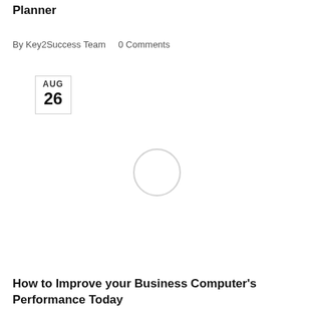Planner
By Key2Success Team    0 Comments
AUG
26
[Figure (other): Loading spinner circle placeholder image]
ARTICLES / NEWS / VLOG
How to Improve your Business Computer's Performance Today